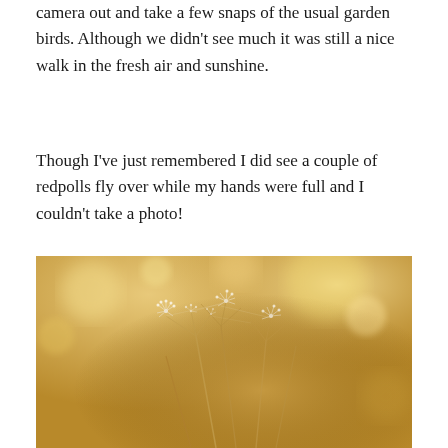camera out and take a few snaps of the usual garden birds. Although we didn't see much it was still a nice walk in the fresh air and sunshine.
Though I've just remembered I did see a couple of redpolls fly over while my hands were full and I couldn't take a photo!
[Figure (photo): Close-up photograph of dried wild grass or plant seed heads with delicate wispy seeds, set against a warm golden bokeh background.]